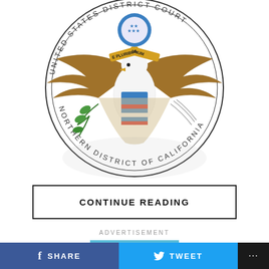[Figure (logo): United States District Court Northern District of California official seal showing bald eagle with shield, olive branch, arrows, and circular text]
CONTINUE READING
ADVERTISEMENT
YOU MAY LIKE
Legal groups seek to block enforcement of "Don't Say..."
SHARE
TWEET